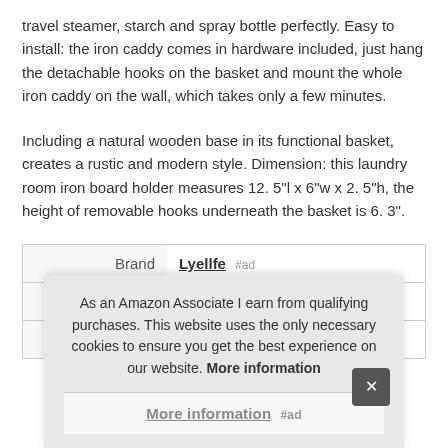travel steamer, starch and spray bottle perfectly. Easy to install: the iron caddy comes in hardware included, just hang the detachable hooks on the basket and mount the whole iron caddy on the wall, which takes only a few minutes.
Including a natural wooden base in its functional basket, creates a rustic and modern style. Dimension: this laundry room iron board holder measures 12. 5"l x 6"w x 2. 5"h, the height of removable hooks underneath the basket is 6. 3".
|  |  |
| --- | --- |
| Brand | Lyellfe #ad |
| Manufacturer | Lyellfe #ad |
| P |  |
As an Amazon Associate I earn from qualifying purchases. This website uses the only necessary cookies to ensure you get the best experience on our website. More information
More information #ad